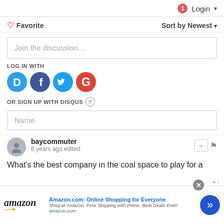1 Login
♡ Favorite   Sort by Newest
Join the discussion...
LOG IN WITH
[Figure (logo): Social login icons: Disqus (blue), Facebook (dark blue), Twitter (light blue), Google (red)]
OR SIGN UP WITH DISQUS ?
Name
baycommuter
8 years ago edited
What's the best company in the coal space to play for a
[Figure (screenshot): Amazon advertisement banner: 'Amazon.com: Online Shopping for Everyone'. Shop at Amazon. Free Shipping with Prime. Best Deals Ever! amazon.com]